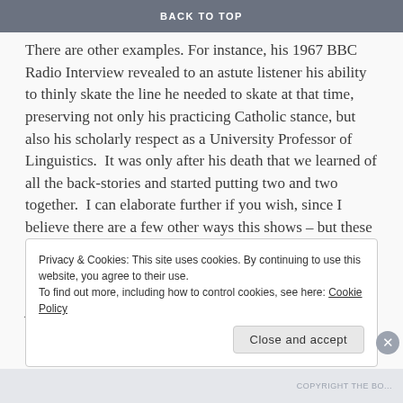BACK TO TOP
There are other examples. For instance, his 1967 BBC Radio Interview revealed to an astute listener his ability to thinly skate the line he needed to skate at that time, preserving not only his practicing Catholic stance, but also his scholarly respect as a University Professor of Linguistics.  It was only after his death that we learned of all the back-stories and started putting two and two together.  I can elaborate further if you wish, since I believe there are a few other ways this shows – but these are the main ones I can think of right now.
What do you actually do? Is there a set of ritual practices or is it more organic and internal that that?
Privacy & Cookies: This site uses cookies. By continuing to use this website, you agree to their use.
To find out more, including how to control cookies, see here: Cookie Policy
Close and accept